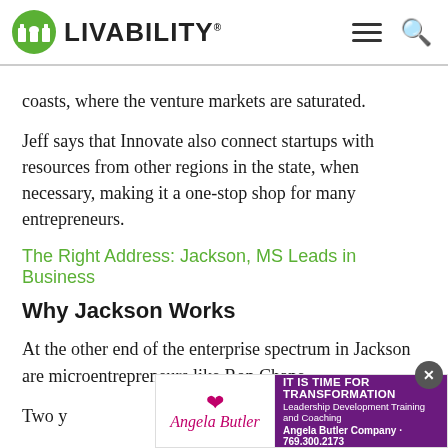LIVABILITY
coasts, where the venture markets are saturated.
Jeff says that Innovate also connect startups with resources from other regions in the state, when necessary, making it a one-stop shop for many entrepreneurs.
The Right Address: Jackson, MS Leads in Business
Why Jackson Works
At the other end of the enterprise spectrum in Jackson are microentrepreneurs like Ron Chane.
Two y
[Figure (advertisement): Angela Butler Company advertisement: IT IS TIME FOR TRANSFORMATION, Leadership Development Training and Coaching, Angela Butler Company · 769.300.2173]